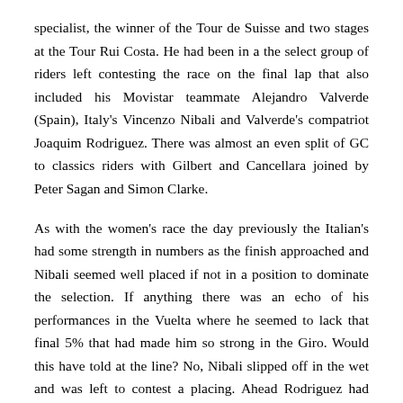specialist, the winner of the Tour de Suisse and two stages at the Tour Rui Costa. He had been in a the select group of riders left contesting the race on the final lap that also included his Movistar teammate Alejandro Valverde (Spain), Italy's Vincenzo Nibali and Valverde's compatriot Joaquim Rodriguez. There was almost an even split of GC to classics riders with Gilbert and Cancellara joined by Peter Sagan and Simon Clarke.
As with the women's race the day previously the Italian's had some strength in numbers as the finish approached and Nibali seemed well placed if not in a position to dominate the selection. If anything there was an echo of his performances in the Vuelta where he seemed to lack that final 5% that had made him so strong in the Giro. Would this have told at the line? No, Nibali slipped off in the wet and was left to contest a placing. Ahead Rodriguez had attacked and was